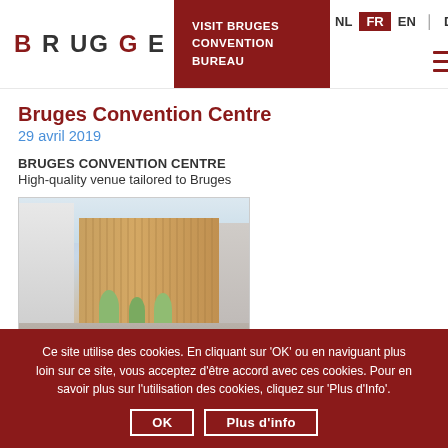BRU GGE | VISIT BRUGES CONVENTION BUREAU | NL FR EN DE
Bruges Convention Centre
29 avril 2019
BRUGES CONVENTION CENTRE
High-quality venue tailored to Bruges
[Figure (illustration): Architectural rendering of Bruges Convention Centre, a modern brick-facade building on a city street with trees and pedestrians]
Ce site utilise des cookies. En cliquant sur 'OK' ou en naviguant plus loin sur ce site, vous acceptez d'être accord avec ces cookies. Pour en savoir plus sur l'utilisation des cookies, cliquez sur 'Plus d'Info'.
OK | Plus d'info